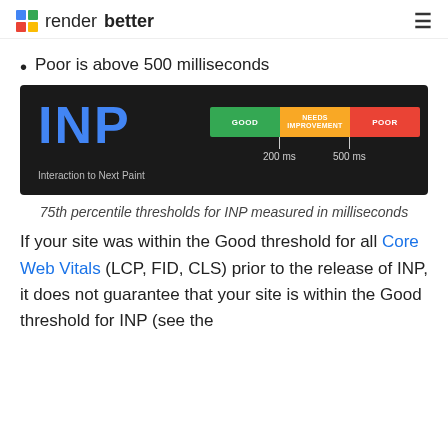render better
Poor is above 500 milliseconds
[Figure (infographic): INP (Interaction to Next Paint) thresholds diagram on dark background showing three color-coded segments: GOOD (green, 0-200ms), NEEDS IMPROVEMENT (orange, 200-500ms), POOR (red, >500ms) with tick marks at 200 ms and 500 ms.]
75th percentile thresholds for INP measured in milliseconds
If your site was within the Good threshold for all Core Web Vitals (LCP, FID, CLS) prior to the release of INP, it does not guarantee that your site is within the Good threshold for INP (see the